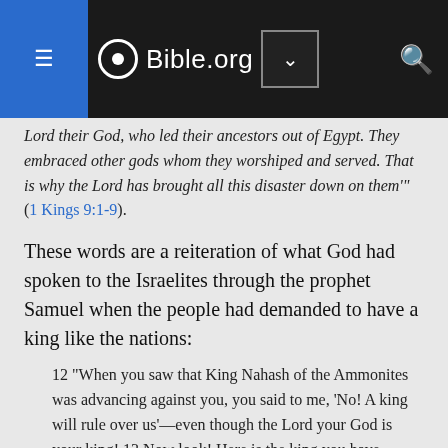Bible.org
Lord their God, who led their ancestors out of Egypt. They embraced other gods whom they worshiped and served. That is why the Lord has brought all this disaster down on them'" (1 Kings 9:1-9).
These words are a reiteration of what God had spoken to the Israelites through the prophet Samuel when the people had demanded to have a king like the nations:
12 "When you saw that King Nahash of the Ammonites was advancing against you, you said to me, ‘No! A king will rule over us’—even though the Lord your God is your king! 13 Now look! Here is the king you have chosen—the one that you asked for. Look, the Lord has given you a king. 14 If you fear the Lord, serving him and obeying him and not rebelling against what he says, and if both you and the king who rules over you follow the Lord your God, all will be well. 15 But if you don't obey the Lord and rebel against what the Lord says, the hand of the Lord will be against both you and your king (